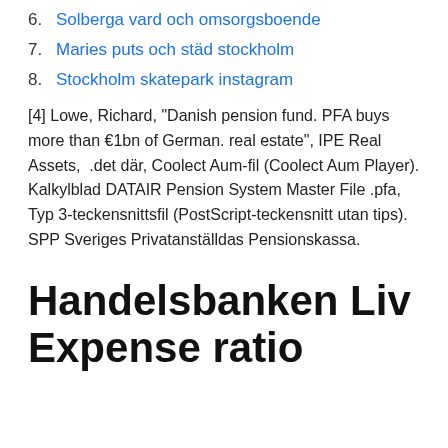6. Solberga vard och omsorgsboende
7. Maries puts och städ stockholm
8. Stockholm skatepark instagram
[4] Lowe, Richard, "Danish pension fund. PFA buys more than €1bn of German. real estate", IPE Real Assets,  .det där, Coolect Aum-fil (Coolect Aum Player). Kalkylblad DATAIR Pension System Master File .pfa, Typ 3-teckensnittsfil (PostScript-teckensnitt utan tips). SPP Sveriges Privatanställdas Pensionskassa.
Handelsbanken Liv Expense ratio